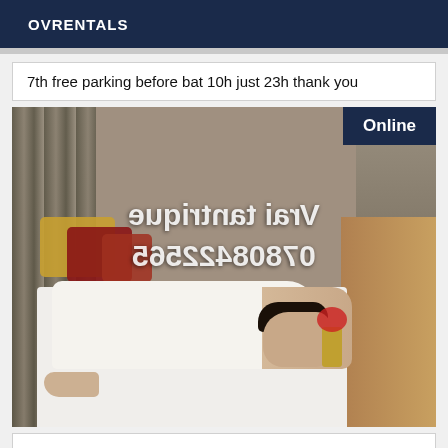OVRENTALS
7th free parking before bat 10h just 23h thank you
[Figure (photo): Photo of a massage room interior with a person lying face-down on a white massage table. Mirrored/flipped text overlay reads 'Vrai tantrique 07808422565'. An 'Online' badge appears in the top-right corner of the image.]